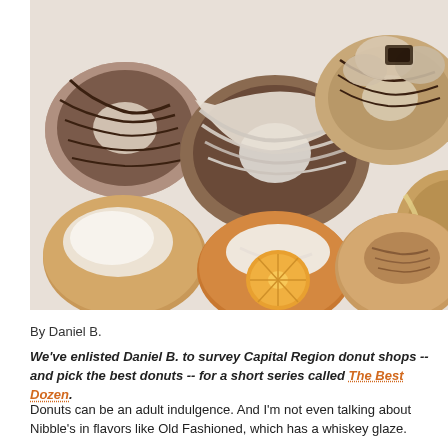[Figure (photo): Overhead view of assorted gourmet donuts on a white surface, including chocolate drizzled, white glazed, filled donuts with orange slice garnish, and powdered sugar varieties.]
By Daniel B.
We've enlisted Daniel B. to survey Capital Region donut shops -- and pick the best donuts -- for a short series called The Best Dozen.
Donuts can be an adult indulgence. And I'm not even talking about Nibble's in flavors like Old Fashioned, which has a whiskey glaze.